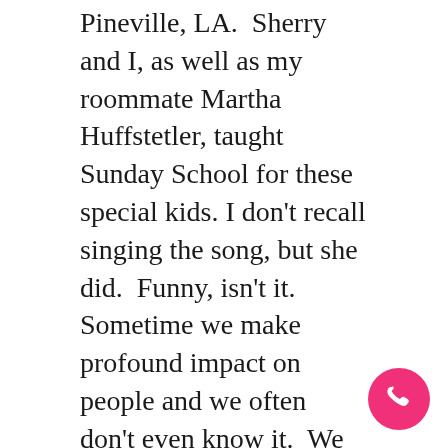Pineville, LA.  Sherry and I, as well as my roommate Martha Huffstetler, taught Sunday School for these special kids. I don't recall singing the song, but she did.  Funny, isn't it.  Sometime we make profound impact on people and we often don't even know it.  We had a great visit and connected on FB, and YES, she is the same College friend who filmed our momentous event in the Grand Canyon. THANKS SHERRY for that phone call.

She inspired me to record this song, so I sharing it with you – a little New Year's gift
[Figure (other): Pink circular phone call button in bottom right corner]